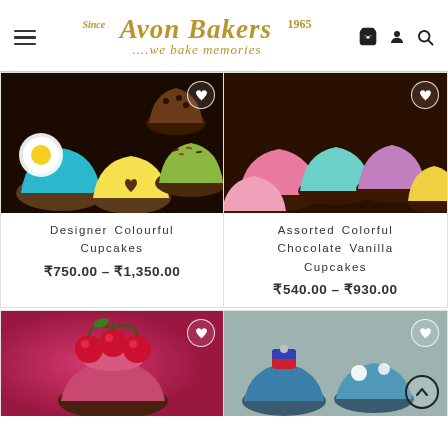Avon Bakers — Since 1965 — ...we bake memories
[Figure (photo): Designer Colourful Cupcakes with teal, green, yellow frosting decorations]
Designer Colourful Cupcakes
₹750.00 – ₹1,350.00
[Figure (photo): Assorted Colorful Chocolate Vanilla Cupcakes with pink, teal, purple, yellow frosting]
Assorted Colorful Chocolate Vanilla Cupcakes
₹540.00 – ₹930.00
[Figure (photo): Cupcake with red cherries on magenta/pink background]
[Figure (photo): Blue themed cupcakes with decorations on wooden surface]